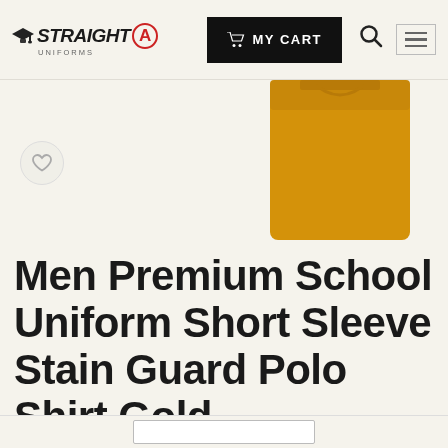STRAIGHT A UNIFORMS — MY CART
[Figure (photo): Gold polo shirt product photo, partially visible, showing yellow-gold fabric against a cream background. Heart/wishlist icon visible on the left.]
Men Premium School Uniform Short Sleeve Stain Guard Polo Shirt Gold
$12.00